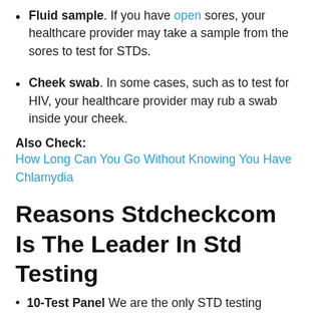Fluid sample. If you have open sores, your healthcare provider may take a sample from the sores to test for STDs.
Cheek swab. In some cases, such as to test for HIV, your healthcare provider may rub a swab inside your cheek.
Also Check:
How Long Can You Go Without Knowing You Have Chlamydia
Reasons Stdcheckcom Is The Leader In Std Testing
10-Test Panel We are the only STD testing service that tests for all common sexuallytransmitted diseases. Our 10-Test Panel includes HIV 1 & 2 antibody , syphilis.